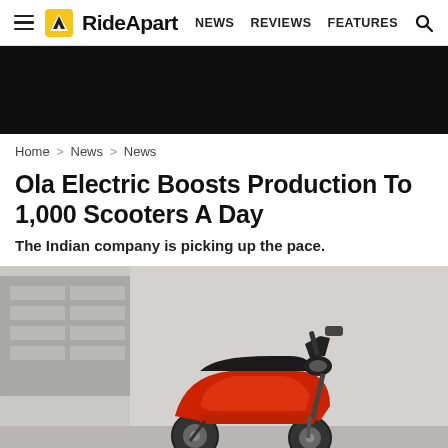RideApart — NEWS  REVIEWS  FEATURES
[Figure (other): Dark advertisement banner]
Home > News > News
Ola Electric Boosts Production To 1,000 Scooters A Day
The Indian company is picking up the pace.
[Figure (photo): Photo of a red Ola Electric scooter parked against a light grey concrete wall with a building in the background]